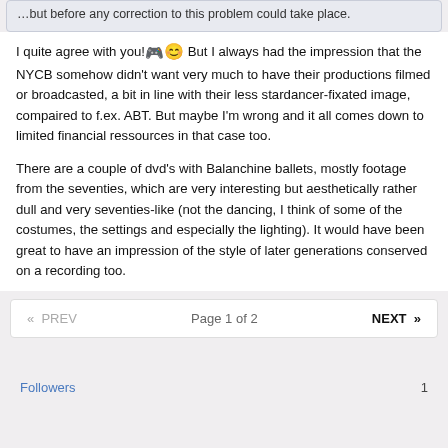...but before any correction to this problem could take place.
I quite agree with you! 🎮😊 But I always had the impression that the NYCB somehow didn't want very much to have their productions filmed or broadcasted, a bit in line with their less stardancer-fixated image, compaired to f.ex. ABT. But maybe I'm wrong and it all comes down to limited financial ressources in that case too.
There are a couple of dvd's with Balanchine ballets, mostly footage from the seventies, which are very interesting but aesthetically rather dull and very seventies-like (not the dancing, I think of some of the costumes, the settings and especially the lighting). It would have been great to have an impression of the style of later generations conserved on a recording too.
Page 1 of 2
Followers  1